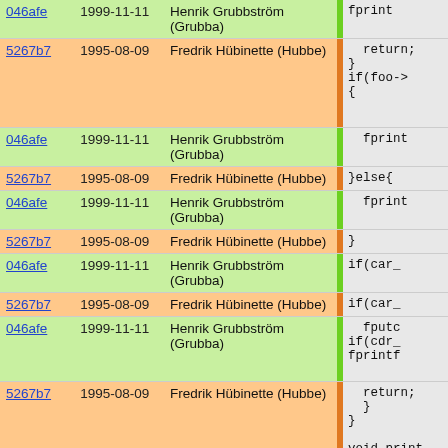| Hash | Date | Author |  | Code |
| --- | --- | --- | --- | --- |
| 046afe | 1999-11-11 | Henrik Grubbström (Grubba) |  | fprint |
| 5267b7 | 1995-08-09 | Fredrik Hübinette (Hubbe) |  | return;
}
if(foo->
{ |
| 046afe | 1999-11-11 | Henrik Grubbström (Grubba) |  | fprint |
| 5267b7 | 1995-08-09 | Fredrik Hübinette (Hubbe) |  | }else{ |
| 046afe | 1999-11-11 | Henrik Grubbström (Grubba) |  | fprint |
| 5267b7 | 1995-08-09 | Fredrik Hübinette (Hubbe) |  | } |
| 046afe | 1999-11-11 | Henrik Grubbström (Grubba) |  | if(car_ |
| 5267b7 | 1995-08-09 | Fredrik Hübinette (Hubbe) |  | if(car_ |
| 046afe | 1999-11-11 | Henrik Grubbström (Grubba) |  | fputc
if(cdr_
fprintf |
| 5267b7 | 1995-08-09 | Fredrik Hübinette (Hubbe) |  | return;
}
}

void print_
{ |
| 3c0c28 | 1998-01-26 | Fredrik Hübinette (Hubbe) |  | check_tree |
| 5267b7 | 1995-08-09 | Fredrik Hübinette (Hubbe) |  | low_print_ |